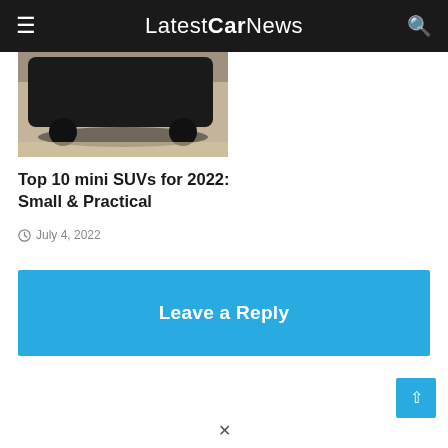LatestCarNews
[Figure (photo): Partial view of a dark-colored vehicle from above, showing the rear/underside, on a light floor surface]
Top 10 mini SUVs for 2022: Small & Practical
July 4, 2022
Leave a Reply